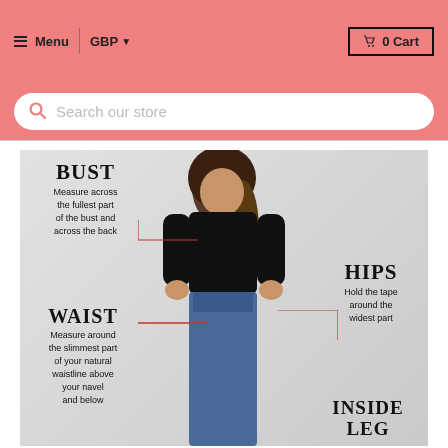Menu  GBP  0 Cart
Search our store
[Figure (infographic): Body measurement guide showing a woman in black top and jeans with annotations for BUST, WAIST, HIPS, and INSIDE LEG measurements with red indicator lines and descriptive text for each measurement point.]